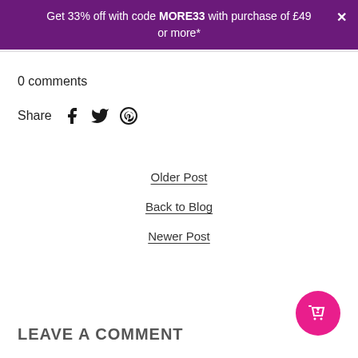Get 33% off with code MORE33 with purchase of £49 or more*
0 comments
Share [Facebook] [Twitter] [Pinterest]
Older Post
Back to Blog
Newer Post
LEAVE A COMMENT
[Figure (other): Pink circular shopping cart button with heart icon]